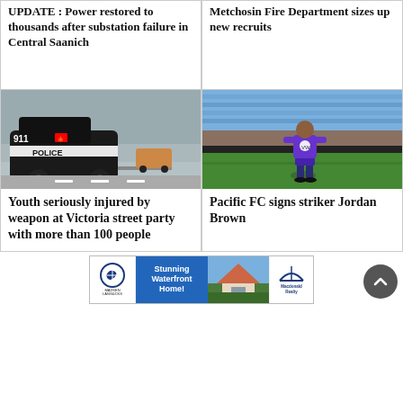UPDATE : Power restored to thousands after substation failure in Central Saanich
Metchosin Fire Department sizes up new recruits
[Figure (photo): Victoria police car with 911 text and Canadian flag on side, street scene in background]
[Figure (photo): Pacific FC soccer player Jordan Brown in purple kit standing on green field with stadium seating in background]
Youth seriously injured by weapon at Victoria street party with more than 100 people
Pacific FC signs striker Jordan Brown
[Figure (infographic): Advertisement banner: Madsen Langocks and Macdonald Realty - Stunning Waterfront Home!]